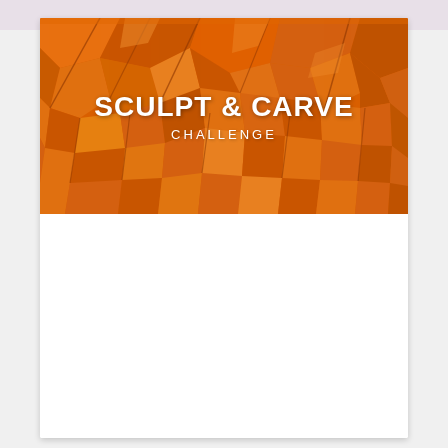[Figure (photo): A decorative banner image showing carved and sculpted pumpkin pieces in shades of orange, with the text 'SCULPT & CARVE CHALLENGE' overlaid in white text on top of the image.]